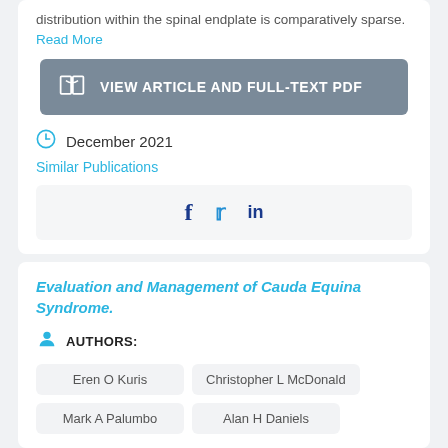distribution within the spinal endplate is comparatively sparse. Read More
VIEW ARTICLE AND FULL-TEXT PDF
December 2021
Similar Publications
[Figure (other): Social sharing icons: Facebook (f), Twitter (bird), LinkedIn (in)]
Evaluation and Management of Cauda Equina Syndrome.
AUTHORS:
Eren O Kuris
Christopher L McDonald
Mark A Palumbo
Alan H Daniels